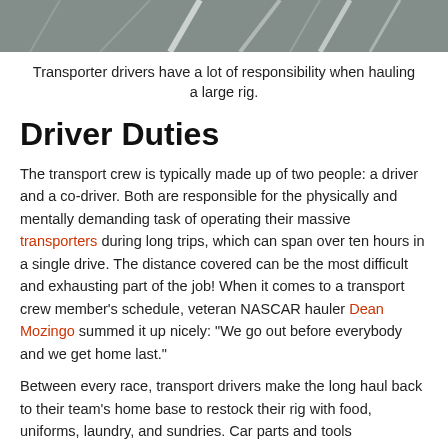[Figure (photo): Top portion of a road/racetrack photo showing grey asphalt with white lane markings, cropped at the top of the page.]
Transporter drivers have a lot of responsibility when hauling a large rig.
Driver Duties
The transport crew is typically made up of two people: a driver and a co-driver. Both are responsible for the physically and mentally demanding task of operating their massive transporters during long trips, which can span over ten hours in a single drive. The distance covered can be the most difficult and exhausting part of the job! When it comes to a transport crew member's schedule, veteran NASCAR hauler Dean Mozingo summed it up nicely: “We go out before everybody and we get home last.”
Between every race, transport drivers make the long haul back to their team’s home base to restock their rig with food, uniforms, laundry, and sundries. Car parts and tools